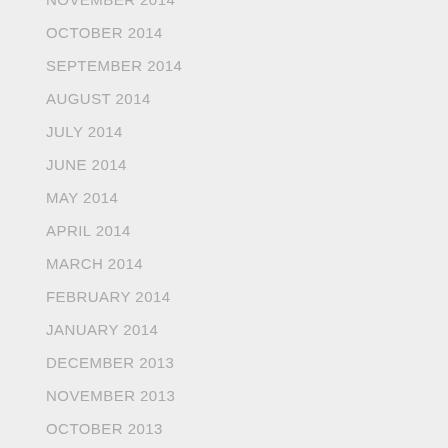NOVEMBER 2014
OCTOBER 2014
SEPTEMBER 2014
AUGUST 2014
JULY 2014
JUNE 2014
MAY 2014
APRIL 2014
MARCH 2014
FEBRUARY 2014
JANUARY 2014
DECEMBER 2013
NOVEMBER 2013
OCTOBER 2013
SEPTEMBER 2013